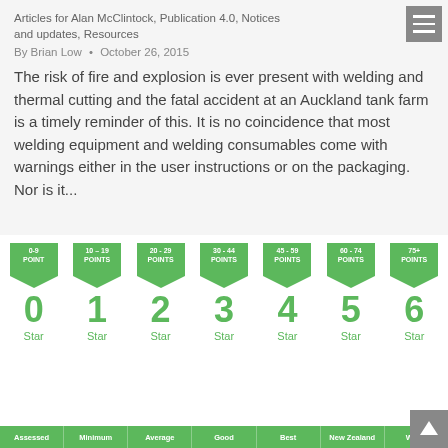Articles for Alan McClintock, Publication 4.0, Notices and updates, Resources
By Brian Low • October 26, 2015
The risk of fire and explosion is ever present with welding and thermal cutting and the fatal accident at an Auckland tank farm is a timely reminder of this. It is no coincidence that most welding equipment and welding consumables come with warnings either in the user instructions or on the packaging. Nor is it...
[Figure (infographic): Star rating scale infographic showing 0-6 stars with point ranges: 0-9 POINT (0 Star), 10-19 POINTS (1 Star), 20-29 POINTS (2 Star), 30-44 POINTS (3 Star), 45-59 POINTS (4 Star), 60-74 POINTS (5 Star), 75+ POINTS (6 Star), with green arrow chevrons and bottom bar labels: Assessed, Minimum, Average, Good, Best, New Zealand, World]